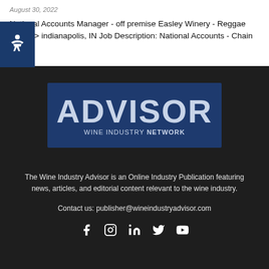August 30, 2022
National Accounts Manager - off premise Easley Winery - Reggae Wines e > indianapolis, IN Job Description: National Accounts - Chain y,...
[Figure (logo): ADVISOR WINE INDUSTRY NETWORK logo on dark blue background]
The Wine Industry Advisor is an Online Industry Publication featuring news, articles, and editorial content relevant to the wine industry.
Contact us: publisher@wineindustryadvisor.com
[Figure (infographic): Social media icons: Facebook, Instagram, LinkedIn, Twitter, YouTube]